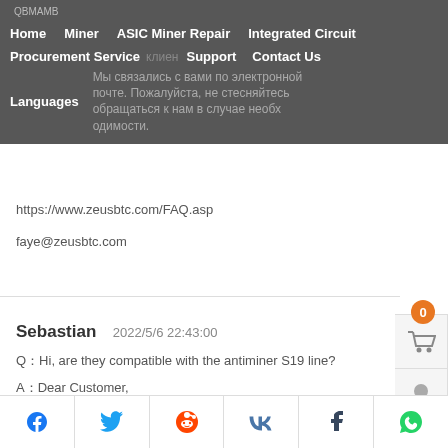QВМАМВ
Home   Miner   ASIC Miner Repair   Integrated Circuit   Procurement Service   Support   Contact Us   Languages
Мы связались с вами по электронной почте. Пожалуйста, не стесняйтесь обращаться к нам в случае необходимости.
https://www.zeusbtc.com/FAQ.asp
faye@zeusbtc.com
Sebastian   2022/5/6 22:43:00
QⓈHi, are they compatible with the antiminer S19 line?
AⓈDear Customer,
We have contacted you by email. Please feel free to contact us if necessary.